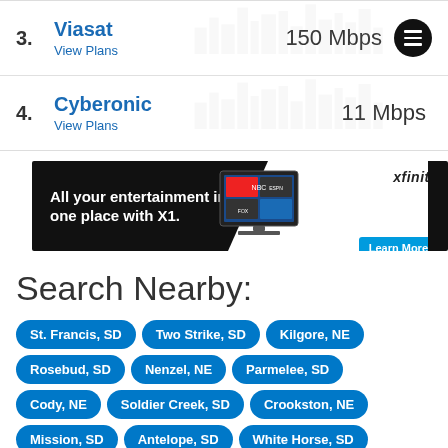| # | Provider | Speed | Action |
| --- | --- | --- | --- |
| 3. | Viasat
View Plans | 150 Mbps | menu |
| 4. | Cyberonic
View Plans | 11 Mbps |  |
[Figure (infographic): Xfinity advertisement banner: 'All your entertainment in one place with X1.' with TV image and Learn More button]
Search Nearby:
St. Francis, SD
Two Strike, SD
Kilgore, NE
Rosebud, SD
Nenzel, NE
Parmelee, SD
Cody, NE
Soldier Creek, SD
Crookston, NE
Mission, SD
Antelope, SD
White Horse, SD
Norris, SD
Valentine, NE
Corn Creek, SD
White River, SD
Okreek, SD
Martin, SD
Merriman, NE
Wood, SD
Wanblee, SD